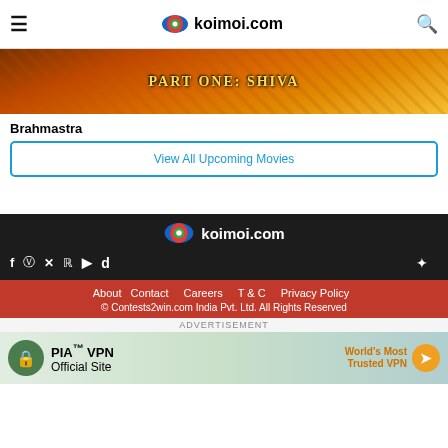koimoi.com
[Figure (photo): Movie banner image for Brahmastra Part One: Shiva with fiery orange-golden background and bold text]
Brahmastra
View All Upcoming Movies
[Figure (logo): Koimoi.com footer logo with colorful eye icon]
Social media icons: Facebook, Instagram, Pinterest, Twitter, YouTube, Dailymotion; App icons: Android, Apple
About  Contact  Careers  T & C  Privacy Policy  © Contests2win.com India Pvt. Ltd. All Rights Reserved
ADVERTISEMENT
[Figure (photo): PIA VPN advertisement banner: PIA™ VPN Official Site - World's Most Trusted VPN]